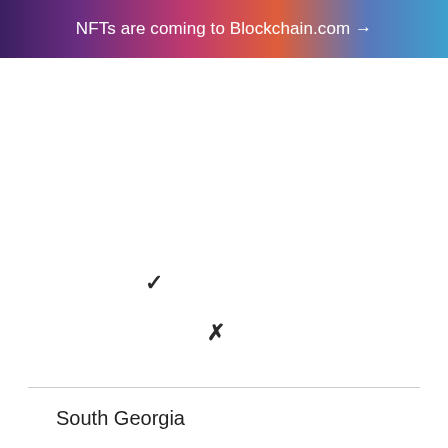NFTs are coming to Blockchain.com →
✓
✓
✗
South Georgia